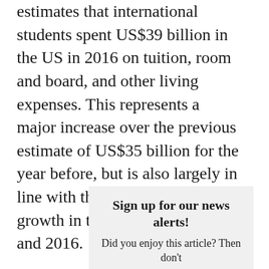estimates that international students spent US$39 billion in the US in 2016 on tuition, room and board, and other living expenses. This represents a major increase over the previous estimate of US$35 billion for the year before, but is also largely in line with the overall enrolment growth in the US between 2015 and 2016.
Sign up for our news alerts! Did you enjoy this article? Then don't